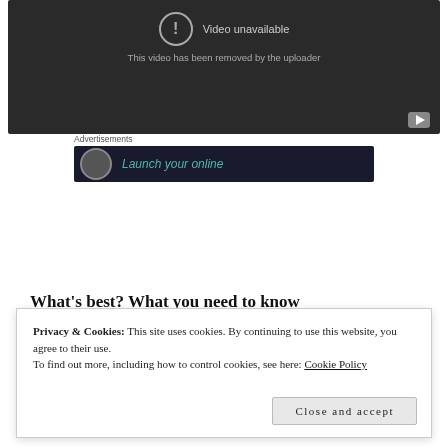[Figure (screenshot): YouTube video unavailable placeholder — dark gray background with exclamation icon, text 'Video unavailable' and 'This video has been removed by the uploader', YouTube icon in bottom-right corner]
Advertisements
[Figure (screenshot): Dark advertisement banner with circular icon and teal text 'Launch your online']
Privacy & Cookies: This site uses cookies. By continuing to use this website, you agree to their use.
To find out more, including how to control cookies, see here: Cookie Policy
Close and accept